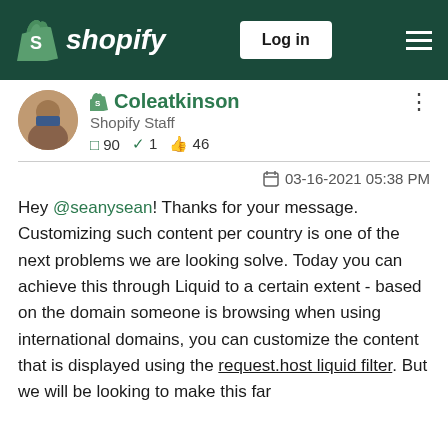Shopify — Log in
Coleatkinson
Shopify Staff
90  1  46
03-16-2021 05:38 PM
Hey @seanysean! Thanks for your message. Customizing such content per country is one of the next problems we are looking solve. Today you can achieve this through Liquid to a certain extent - based on the domain someone is browsing when using international domains, you can customize the content that is displayed using the request.host liquid filter. But we will be looking to make this far